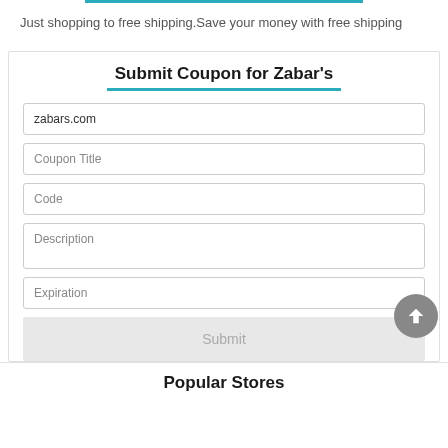Just shopping to free shipping.Save your money with free shipping
Submit Coupon for Zabar's
zabars.com
Coupon Title
Code
Description
Expiration
Submit
Popular Stores